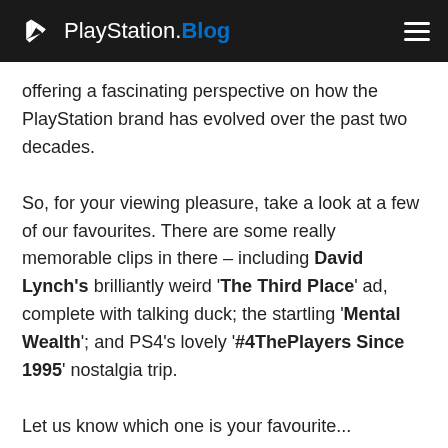PlayStation.Blog
offering a fascinating perspective on how the PlayStation brand has evolved over the past two decades.
So, for your viewing pleasure, take a look at a few of our favourites. There are some really memorable clips in there – including David Lynch's brilliantly weird 'The Third Place' ad, complete with talking duck; the startling 'Mental Wealth'; and PS4's lovely '#4ThePlayers Since 1995' nostalgia trip.
Let us know which one is your favourite...